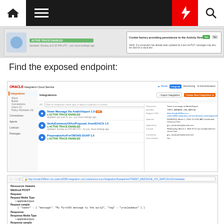[Figure (screenshot): Navigation bar with home icon, hamburger menu, dark spacer, red lightning bolt, and search icon]
[Figure (screenshot): Blurry browser screenshot showing Active Trace Enabled status and some confirmation dialog]
Find the exposed endpoint:
[Figure (screenshot): Oracle Integration Cloud Service screenshot showing integrations list: Tweet Message Via AnalioViapori 1.0 ACTIVE TRACE ENABLED, VerifyExistenceOfActProposal_fromSOACS 1.0 ACTIVE TRACE ENABLED, ProposalueAcrForOBOHS-SOAP 1.0 ACTIVE TRACE ENABLED, and a detail panel on the right showing endpoint info]
[Figure (screenshot): API documentation page with URL bar showing http://icsdev005ksn.ics-codecs0058.integration.us2.oraclecloud.com/integration/flowapi/rest/TWEET_MESSAGE_VIA_SARCIA/v01/metadata showing Resource /tweets, Method POST, Request, Request Media Type: application/json, Request sample: { 'tweet': { 'message': 'My first69 message to the world', 'tag': 'oracledemos' } }, Response, Response Media Type: application/json, Response sample]